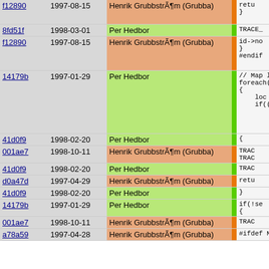| hash | date | author | bar | code |
| --- | --- | --- | --- | --- |
| f12890 | 1997-08-15 | Henrik GrubbstrÃ¶m (Grubba) |  | retu
} |
| 8fd51f | 1998-03-01 | Per Hedbor |  | TRACE_ |
| f12890 | 1997-08-15 | Henrik GrubbstrÃ¶m (Grubba) |  | id->no
}
#endif |
| 14179b | 1997-01-29 | Per Hedbor |  | // Map l
foreach(
{
    loc =
    if((fi |
| 41d0f9 | 1998-02-20 | Per Hedbor |  | { |
| 001ae7 | 1998-10-11 | Henrik GrubbstrÃ¶m (Grubba) |  | TRAC
TRAC |
| 41d0f9 | 1998-02-20 | Per Hedbor |  | TRAC |
| d0a47d | 1997-04-29 | Henrik GrubbstrÃ¶m (Grubba) |  | retu |
| 41d0f9 | 1998-02-20 | Per Hedbor |  | } |
| 14179b | 1997-01-29 | Per Hedbor |  | if(!se
{ |
| 001ae7 | 1998-10-11 | Henrik GrubbstrÃ¶m (Grubba) |  | TRAC |
| a78a59 | 1997-04-28 | Henrik GrubbstrÃ¶m (Grubba) |  | #ifdef MOD |